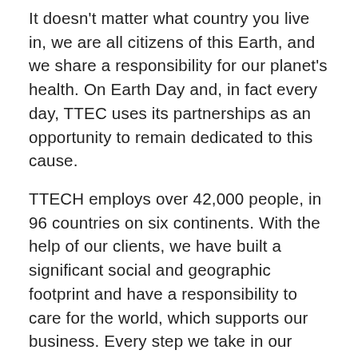It doesn't matter what country you live in, we are all citizens of this Earth, and we share a responsibility for our planet's health. On Earth Day and, in fact every day, TTEC uses its partnerships as an opportunity to remain dedicated to this cause.
TTECH employs over 42,000 people, in 96 countries on six continents. With the help of our clients, we have built a significant social and geographic footprint and have a responsibility to care for the world, which supports our business. Every step we take in our evolution as a company has important consequences for each of us, for our clients, and for their customers as well. It also has consequences for the Earth we share.